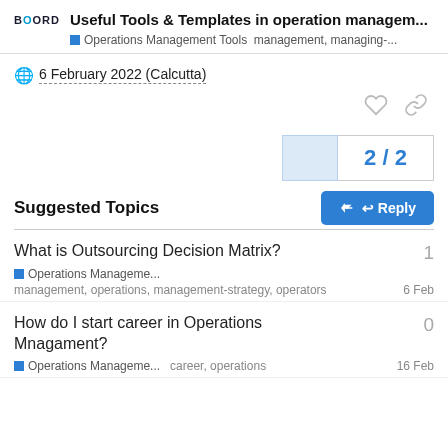Useful Tools & Templates in operation managem... | Operations Management Tools | management, managing-...
6 February 2022 (Calcutta)
2 / 2
Reply
Suggested Topics
What is Outsourcing Decision Matrix?
Operations Manageme...
management, operations, management-strategy, operators   6 Feb
How do I start career in Operations Mnagament?
Operations Manageme...   career, operations   16 Feb